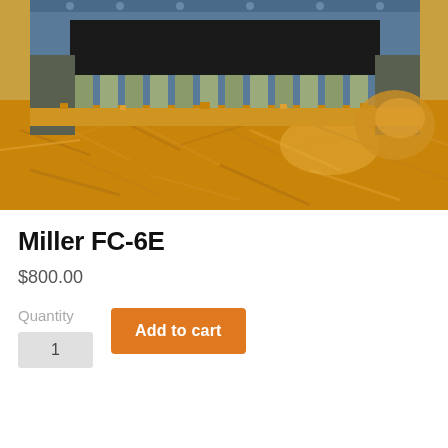[Figure (photo): Close-up photo of industrial milling/cutting machine with blue metal housing and teeth/blades processing golden-colored wood material (OSB or similar wood composite)]
Miller FC-6E
$800.00
Quantity
Add to cart
1